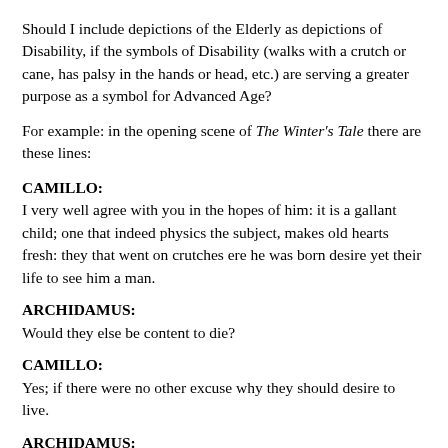Should I include depictions of the Elderly as depictions of Disability, if the symbols of Disability (walks with a crutch or cane, has palsy in the hands or head, etc.) are serving a greater purpose as a symbol for Advanced Age?
For example: in the opening scene of The Winter's Tale there are these lines:
CAMILLO:
I very well agree with you in the hopes of him: it is a gallant child; one that indeed physics the subject, makes old hearts fresh: they that went on crutches ere he was born desire yet their life to see him a man.
ARCHIDAMUS:
Would they else be content to die?
CAMILLO:
Yes; if there were no other excuse why they should desire to live.
ARCHIDAMUS:
If the king had no son, they would desire to live on crutches till he had one.